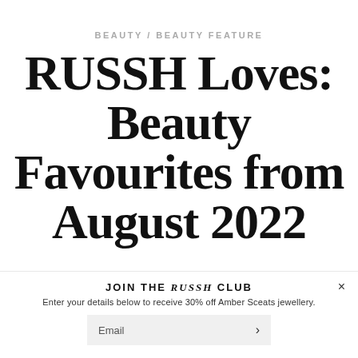BEAUTY / BEAUTY FEATURE
RUSSH Loves: Beauty Favourites from August 2022
JOIN THE RUSSH CLUB
Enter your details below to receive 30% off Amber Sceats jewellery.
Email